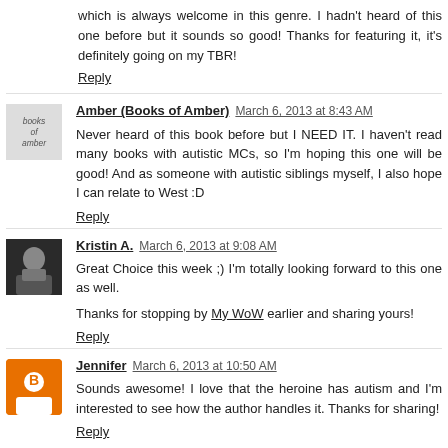which is always welcome in this genre. I hadn't heard of this one before but it sounds so good! Thanks for featuring it, it's definitely going on my TBR!
Reply
Amber (Books of Amber)  March 6, 2013 at 8:43 AM
Never heard of this book before but I NEED IT. I haven't read many books with autistic MCs, so I'm hoping this one will be good! And as someone with autistic siblings myself, I also hope I can relate to West :D
Reply
Kristin A.  March 6, 2013 at 9:08 AM
Great Choice this week ;) I'm totally looking forward to this one as well.
Thanks for stopping by My WoW earlier and sharing yours!
Reply
Jennifer  March 6, 2013 at 10:50 AM
Sounds awesome! I love that the heroine has autism and I'm interested to see how the author handles it. Thanks for sharing!
Reply